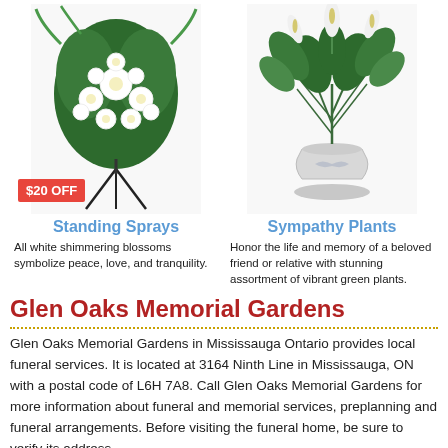[Figure (photo): White floral standing spray on a black stand with a red $20 OFF badge]
[Figure (photo): Green sympathy plant (peace lily) in a white decorative urn]
Standing Sprays
Sympathy Plants
All white shimmering blossoms symbolize peace, love, and tranquility.
Honor the life and memory of a beloved friend or relative with stunning assortment of vibrant green plants.
Glen Oaks Memorial Gardens
Glen Oaks Memorial Gardens in Mississauga Ontario provides local funeral services. It is located at 3164 Ninth Line in Mississauga, ON with a postal code of L6H 7A8. Call Glen Oaks Memorial Gardens for more information about funeral and memorial services, preplanning and funeral arrangements. Before visiting the funeral home, be sure to verify its address